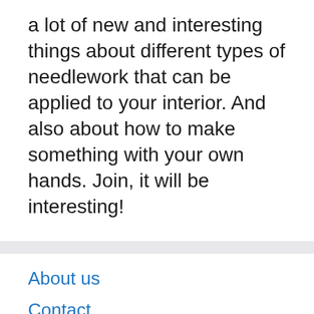a lot of new and interesting things about different types of needlework that can be applied to your interior. And also about how to make something with your own hands. Join, it will be interesting!
About us
Contact
Privacy Policy & Cookies
ATTENTION TO RIGHT HOLDERS! All materials are posted on the site strictly for informational and educational purposes! If you believe that the posting of any material infringes your copyright, be sure to contact